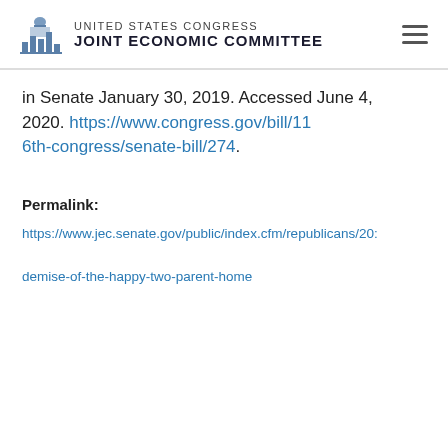UNITED STATES CONGRESS JOINT ECONOMIC COMMITTEE
in Senate January 30, 2019. Accessed June 4, 2020. https://www.congress.gov/bill/116th-congress/senate-bill/274.
Permalink: https://www.jec.senate.gov/public/index.cfm/republicans/20: demise-of-the-happy-two-parent-home